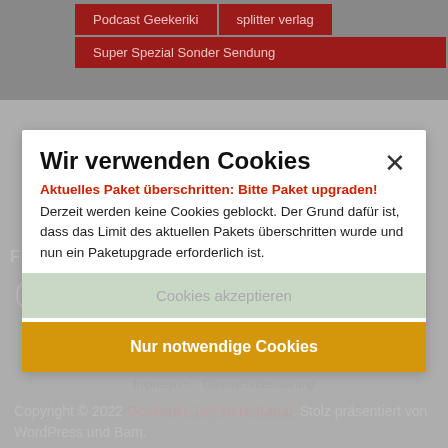[Figure (screenshot): Navigation bar with dark red buttons: 'Podcast Geekeriki', 'splitter verlag', 'Super Spezial Sonder Sendung' on grey background]
Wir verwenden Cookies
Aktuelles Paket überschritten: Bitte Paket upgraden!
Derzeit werden keine Cookies geblockt. Der Grund dafür ist, dass das Limit des aktuellen Pakets überschritten wurde und nun ein Paketupgrade erforderlich ist.
Cookies akzeptieren
Nur notwendige Cookies
Impressum   Datenschutzerklärung
Cookie Manager von AdSimple
Copyright © 2022 Geekeriki- Der Nerd-Kanal. Stolz präsentiert von WordPress und Bam.